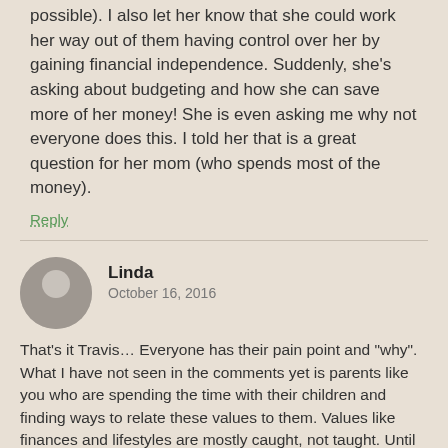possible). I also let her know that she could work her way out of them having control over her by gaining financial independence. Suddenly, she's asking about budgeting and how she can save more of her money! She is even asking me why not everyone does this. I told her that is a great question for her mom (who spends most of the money).
Reply
Linda
October 16, 2016
That's it Travis… Everyone has their pain point and "why". What I have not seen in the comments yet is parents like you who are spending the time with their children and finding ways to relate these values to them. Values like finances and lifestyles are mostly caught, not taught. Until the kids have their own lightbulb moment they may hear what you say but won't care much about it until they can see how it relates to themselves. That's how we reach our kids.
Reply